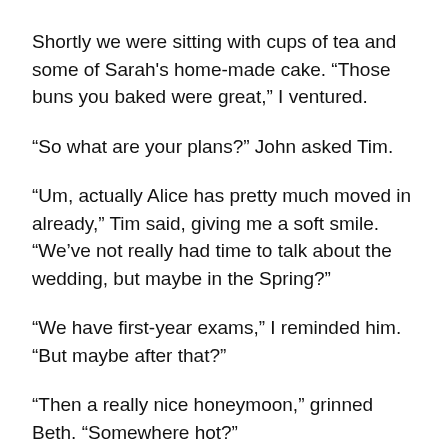Shortly we were sitting with cups of tea and some of Sarah's home-made cake. “Those buns you baked were great,” I ventured.
“So what are your plans?” John asked Tim.
“Um, actually Alice has pretty much moved in already,” Tim said, giving me a soft smile. “We’ve not really had time to talk about the wedding, but maybe in the Spring?”
“We have first-year exams,” I reminded him. “But maybe after that?”
“Then a really nice honeymoon,” grinned Beth. “Somewhere hot?”